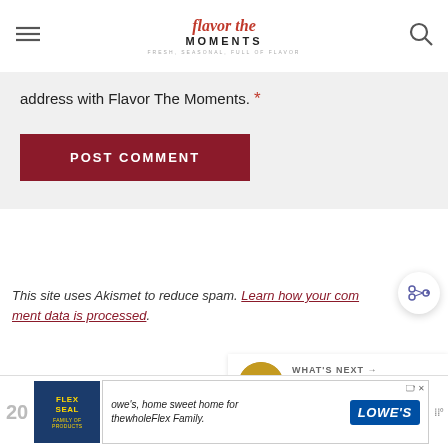Flavor The Moments — Fresh, seasonal, full of flavor
address with Flavor The Moments. *
POST COMMENT
This site uses Akismet to reduce spam. Learn how your comment data is processed.
[Figure (screenshot): What's Next panel showing Crispy Baked Zucchini...]
[Figure (screenshot): Advertisement bar showing Flex Seal and Lowe's ad]